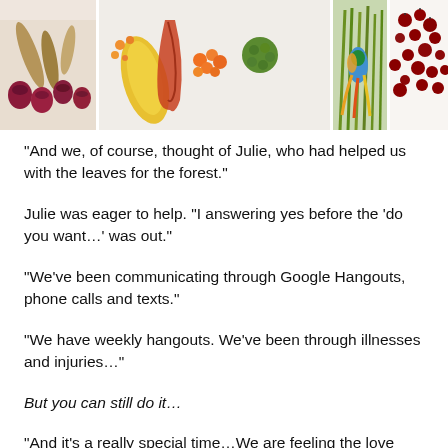[Figure (photo): A collage of four nature/botanical photos: seed pods and red onions on white, colorful tropical fruits and flowers, a colorful bird among tall grasses, and red berries scattered on white background.]
"And we, of course, thought of Julie, who had helped us with the leaves for the forest."
Julie was eager to help. “I answering yes before the ‘do you want…’ was out.”
"We’ve been communicating through Google Hangouts, phone calls and texts."
"We have weekly hangouts. We’ve been through illnesses and injuries…"
But you can still do it…
"And it’s a really special time…We are feeling the love from people who are sending us these things, and the amount of work they are